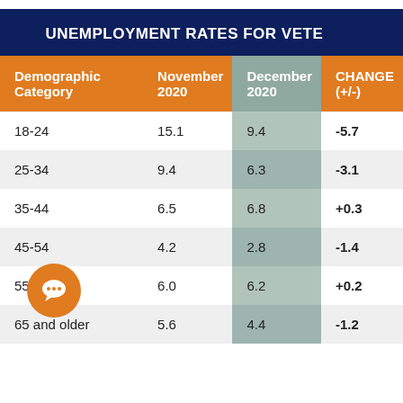UNEMPLOYMENT RATES FOR VETE...
| Demographic Category | November 2020 | December 2020 | CHANGE (+/-) |
| --- | --- | --- | --- |
| 18-24 | 15.1 | 9.4 | -5.7 |
| 25-34 | 9.4 | 6.3 | -3.1 |
| 35-44 | 6.5 | 6.8 | +0.3 |
| 45-54 | 4.2 | 2.8 | -1.4 |
| 55-64 | 6.0 | 6.2 | +0.2 |
| 65 and older | 5.6 | 4.4 | -1.2 |